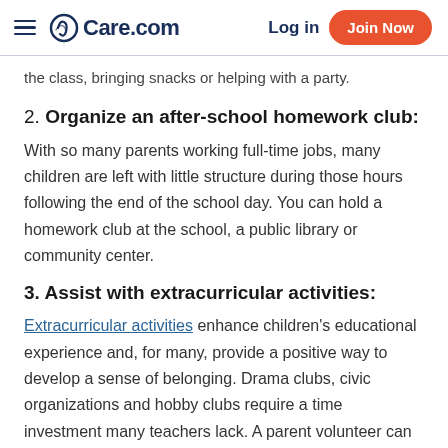Care.com  Log in  Join Now
the class, bringing snacks or helping with a party.
2. Organize an after-school homework club:
With so many parents working full-time jobs, many children are left with little structure during those hours following the end of the school day. You can hold a homework club at the school, a public library or community center.
3. Assist with extracurricular activities:
Extracurricular activities enhance children's educational experience and, for many, provide a positive way to develop a sense of belonging. Drama clubs, civic organizations and hobby clubs require a time investment many teachers lack. A parent volunteer can play a vital role in ensuring these activities are available — whether